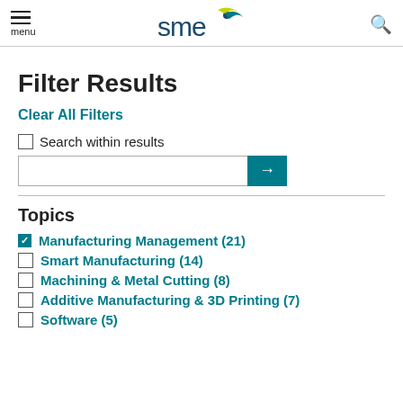menu | SME logo | search
Filter Results
Clear All Filters
Search within results
Topics
Manufacturing Management (21)
Smart Manufacturing (14)
Machining & Metal Cutting (8)
Additive Manufacturing & 3D Printing (7)
Software (5)